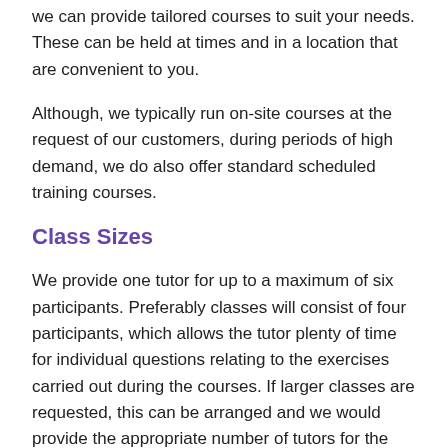we can provide tailored courses to suit your needs. These can be held at times and in a location that are convenient to you.
Although, we typically run on-site courses at the request of our customers, during periods of high demand, we do also offer standard scheduled training courses.
Class Sizes
We provide one tutor for up to a maximum of six participants. Preferably classes will consist of four participants, which allows the tutor plenty of time for individual questions relating to the exercises carried out during the courses. If larger classes are requested, this can be arranged and we would provide the appropriate number of tutors for the size of class.